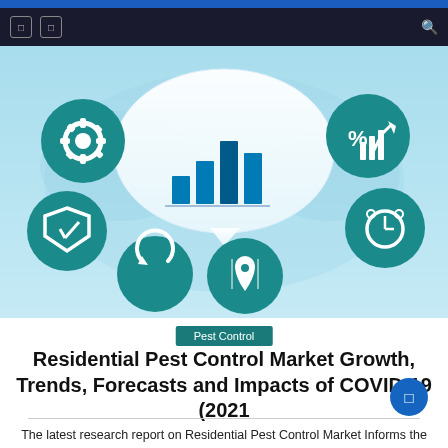Navigation bar with icons
[Figure (illustration): Market research infographic header image showing a bar chart in a speech bubble, surrounded by circular teal icons depicting gears, a shield, a refresh/sync symbol, a map/location pin, a clock/alarm, and percentage/growth icons, all on a light blue background with a world map silhouette.]
Pest Control
Residential Pest Control Market Growth, Trends, Forecasts and Impacts of COVID-19 (2021
The latest research report on Residential Pest Control Market Informs the reader of all the important aspects that influence the behavior of the industry, such as the main growth drivers and challenges, to enable stakeholders make informed decisions for the future. It also includes a